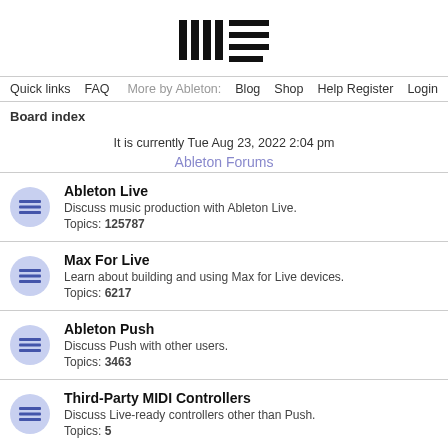[Figure (logo): Ableton forum logo with vertical bars and horizontal lines]
Quick links  FAQ  More by Ableton:  Blog  Shop  Help  Register  Login
Board index
It is currently Tue Aug 23, 2022 2:04 pm
Ableton Forums
Ableton Live
Discuss music production with Ableton Live.
Topics: 125787
Max For Live
Learn about building and using Max for Live devices.
Topics: 6217
Ableton Push
Discuss Push with other users.
Topics: 3463
Third-Party MIDI Controllers
Discuss Live-ready controllers other than Push.
Topics: 5